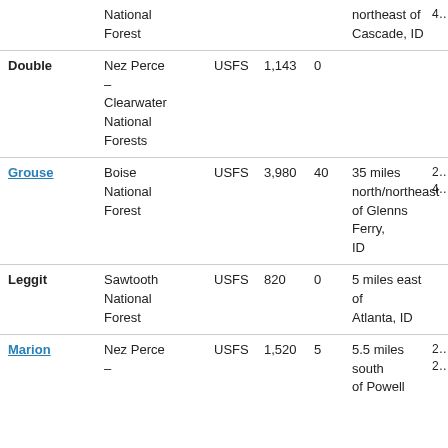| Name | Forest/Unit | Agency | Acres | Miles | Location |  |
| --- | --- | --- | --- | --- | --- | --- |
|  | National Forest |  |  |  | northeast of Cascade, ID | 4… |
| Double | Nez Perce – Clearwater National Forests | USFS | 1,143 | 0 |  |  |
| Grouse | Boise National Forest | USFS | 3,980 | 40 | 35 miles north/northeast of Glenns Ferry, ID | 2… |
| Leggit | Sawtooth National Forest | USFS | 820 | 0 | 5 miles east of Atlanta, ID |  |
| Marion | Nez Perce – | USFS | 1,520 | 5 | 5.5 miles south of Powell | 2… 2… |